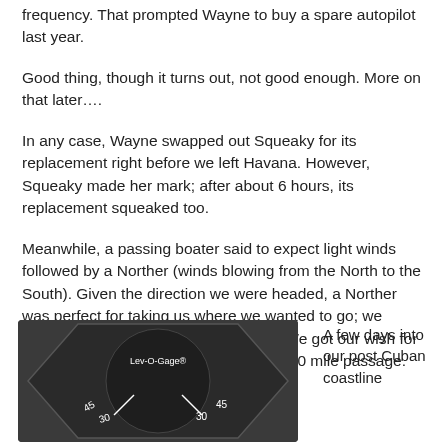frequency.  That prompted Wayne to buy a spare autopilot last year.
Good thing, though it turns out, not good enough.  More on that later….
In any case, Wayne swapped out Squeaky for its replacement right before we left Havana.  However, Squeaky made her mark; after about 6 hours, its replacement squeaked too.
Meanwhile, a passing boater said to expect light winds followed by a Norther (winds blowing from the North to the South).  Given the direction we were headed, a Norther was perfect for taking us where we wanted to go; we hoped the winds wouldn't be too light.  We got our wish for the latter.  We made the jump into our 520 mile passage.
[Figure (photo): Close-up photo of a Lev-O-Gage instrument, a dark hexagonal device with degree markings including 45, 30 visible on its face]
A few days into our post Cuban coastline